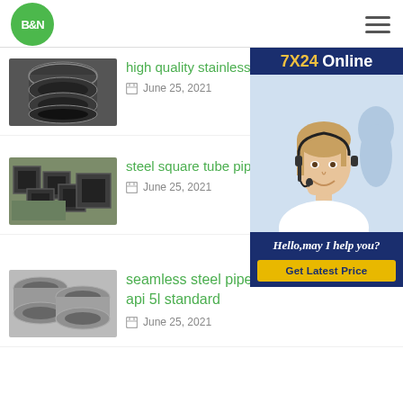[Figure (logo): B&N green circle logo]
[Figure (illustration): Hamburger menu icon (three horizontal lines)]
[Figure (photo): Stack of steel stainless pipes, dark metal]
high quality stainless pipe
June 25, 2021
[Figure (photo): Steel square tube pipes bundled together]
steel square tube pipe tube s
June 25, 2021
[Figure (photo): 7X24 Online chat widget with customer service agent photo, Hello may I help you, Get Latest Price button]
[Figure (photo): Seamless steel pipes stacked together]
seamless steel pipe for astm a106 gr b api 5l standard
June 25, 2021